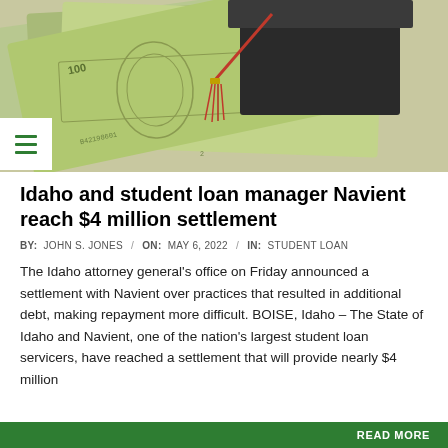[Figure (photo): Photo of a graduation cap (mortarboard) with red tassel resting on top of fanned-out US dollar bills]
Idaho and student loan manager Navient reach $4 million settlement
BY:  JOHN S. JONES  /  ON:  MAY 6, 2022  /  IN:  STUDENT LOAN
The Idaho attorney general's office on Friday announced a settlement with Navient over practices that resulted in additional debt, making repayment more difficult. BOISE, Idaho – The State of Idaho and Navient, one of the nation's largest student loan servicers, have reached a settlement that will provide nearly $4 million
READ MORE